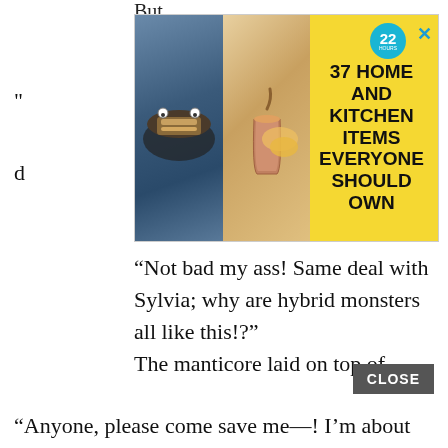But...
[Figure (screenshot): Advertisement banner with yellow background showing '37 HOME AND KITCHEN ITEMS EVERYONE SHOULD OWN' with food/kitchen product images on the left and a cyan circular badge with '22' on it. Close X button in top right.]
“Not bad my ass! Same deal with Sylvia; why are hybrid monsters all like this!?”
The manticore laid on top of me and pinned my arms down with its front legs…!
“Come on, just try taking a shot from my meat whip…!? Gah, wh–what’s this now!?”
I activated Drain Touch and started sucking the life force and mana out of the manticore!
“Anyone, please come save me—! I’m about